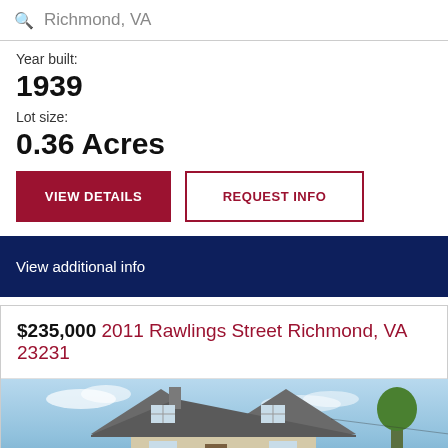Richmond, VA
Year built:
1939
Lot size:
0.36 Acres
VIEW DETAILS
REQUEST INFO
View additional info
$235,000 2011 Rawlings Street Richmond, VA 23231
[Figure (photo): Exterior photo of a house with dormer windows and a chimney against a blue sky with trees]